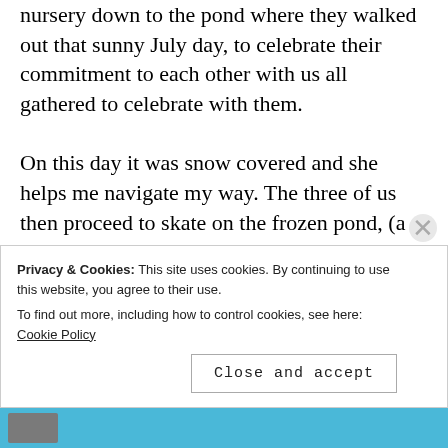nursery down to the pond where they walked out that sunny July day, to celebrate their commitment to each other with us all gathered to celebrate with them.

On this day it was snow covered and she helps me navigate my way. The three of us then proceed to skate on the frozen pond, (a clearly Canadian winter pastime), all the while we talk about everything
Privacy & Cookies: This site uses cookies. By continuing to use this website, you agree to their use.
To find out more, including how to control cookies, see here: Cookie Policy
Close and accept